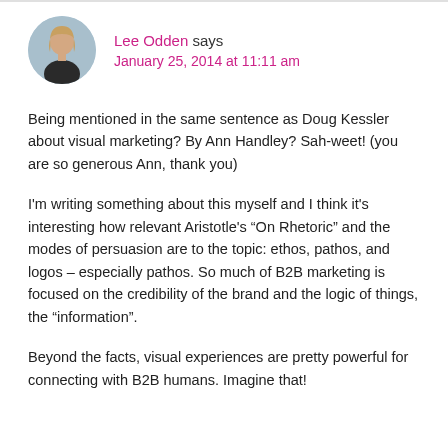Lee Odden says
January 25, 2014 at 11:11 am
Being mentioned in the same sentence as Doug Kessler about visual marketing? By Ann Handley? Sah-weet! (you are so generous Ann, thank you)
I'm writing something about this myself and I think it's interesting how relevant Aristotle's “On Rhetoric” and the modes of persuasion are to the topic: ethos, pathos, and logos – especially pathos. So much of B2B marketing is focused on the credibility of the brand and the logic of things, the “information”.
Beyond the facts, visual experiences are pretty powerful for connecting with B2B humans. Imagine that!